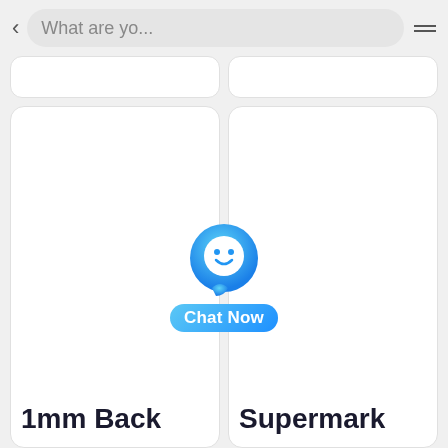[Figure (screenshot): Mobile app UI screenshot showing a search bar at the top with back arrow and menu icon, two partial product cards in a top row, and two large product cards below. A 'Chat Now' button overlay with a blue chat bubble icon is centered over the cards. The bottom cards are partially labeled '1mm Back' (left) and 'Supermark' (right).]
1mm Back
Supermark